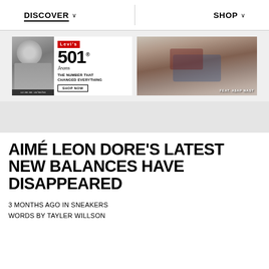DISCOVER  SHOP
[Figure (photo): Levi's 501 advertisement with black and white photo on left and 501 Jeans logo with tagline 'THE NUMBER THAT CHANGED EVERYTHING' and SHOP NOW button]
[Figure (photo): Advertisement photo of person wearing Levi's 501 jeans, lounging, with text 'FEAT. A$AP NAST']
AIMÉ LEON DORE'S LATEST NEW BALANCES HAVE DISAPPEARED
3 MONTHS AGO IN SNEAKERS
WORDS BY TAYLER WILLSON